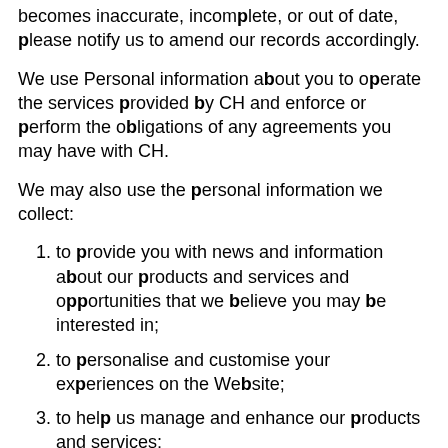becomes inaccurate, incomplete, or out of date, please notify us to amend our records accordingly.
We use Personal information about you to operate the services provided by CH and enforce or perform the obligations of any agreements you may have with CH.
We may also use the personal information we collect:
to provide you with news and information about our products and services and opportunities that we believe you may be interested in;
to personalise and customise your experiences on the Website;
to help us manage and enhance our products and services;